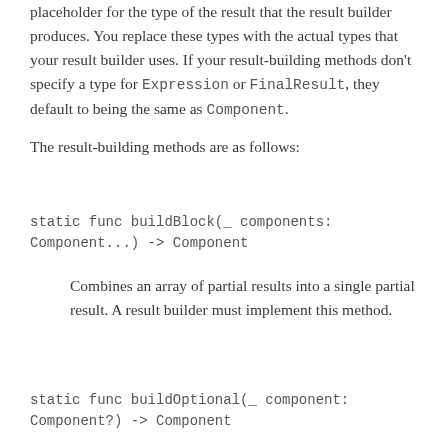placeholder for the type of the result that the result builder produces. You replace these types with the actual types that your result builder uses. If your result-building methods don't specify a type for Expression or FinalResult, they default to being the same as Component.
The result-building methods are as follows:
static func buildBlock(_ components: Component...) -> Component
Combines an array of partial results into a single partial result. A result builder must implement this method.
static func buildOptional(_ component: Component?) -> Component